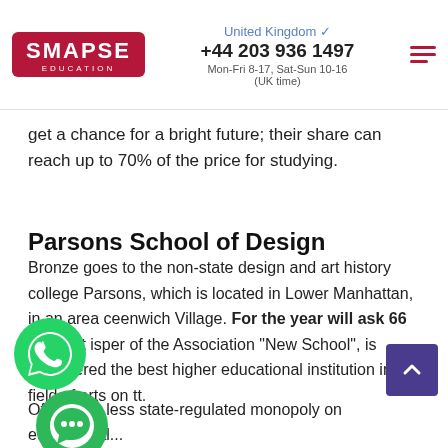SMAPSE EDUCATION | United Kingdom | +44 203 936 1497 | Mon-Fri 8-17, Sat-Sun 10-16 (UK time)
get a chance for a bright future; their share can reach up to 70% of the price for studying.
Parsons School of Design
Bronze goes to the non-state design and art history college Parsons, which is located in Lower Manhattan, in an area of Greenwich Village. For the year will ask 66 300 $. It is a member of the Association "New School", is considered the best higher educational institution in the field of arts on the continent.
Of course, less state-regulated monopoly on educational...